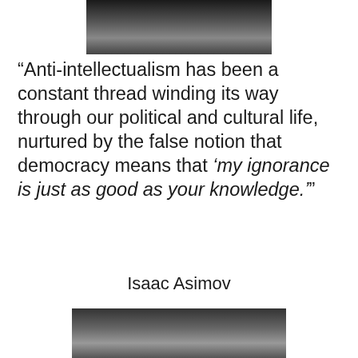[Figure (photo): Black and white partial photo of a person, cropped at top of page]
“Anti-intellectualism has been a constant thread winding its way through our political and cultural life, nurtured by the false notion that democracy means that ‘my ignorance is just as good as your knowledge.’”
Isaac Asimov
[Figure (photo): Black and white partial photo of a person, cropped at bottom of page]